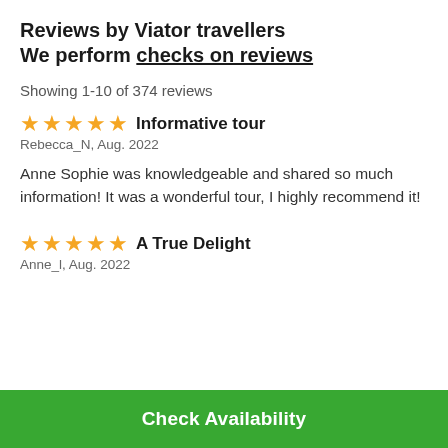Reviews by Viator travellers
We perform checks on reviews
Showing 1-10 of 374 reviews
★★★★★  Informative tour
Rebecca_N, Aug. 2022
Anne Sophie was knowledgeable and shared so much information! It was a wonderful tour, I highly recommend it!
★★★★★  A True Delight
Anne_l, Aug. 2022
Check Availability